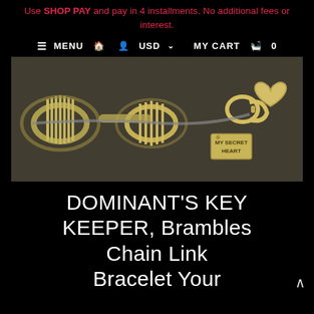Use SHOP PAY and pay in 4 installments. No additional fees or interest.
≡ MENU  🏠  👤  USD ∨     MY CART  🛍  0
[Figure (photo): Close-up photo of a gold-toned brambles chain link bracelet with wrapped wire coils and a heart clasp, with a small tag reading 'MY SECRET HEART']
DOMINANT'S KEY KEEPER, Brambles Chain Link Bracelet Your